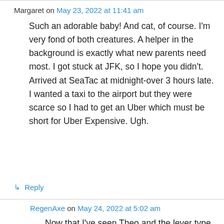Margaret on May 23, 2022 at 11:41 am
Such an adorable baby! And cat, of course. I'm very fond of both creatures. A helper in the background is exactly what new parents need most. I got stuck at JFK, so I hope you didn't. Arrived at SeaTac at midnight-over 3 hours late. I wanted a taxi to the airport but they were scarce so I had to get an Uber which must be short for Uber Expensive. Ugh.
↳ Reply
RegenAxe on May 24, 2022 at 5:02 am
Now that I've seen Theo and the lever type door handles, I understand. I thought he was turning